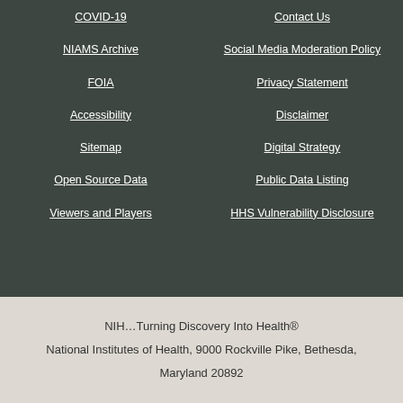COVID-19
Contact Us
NIAMS Archive
Social Media Moderation Policy
FOIA
Privacy Statement
Accessibility
Disclaimer
Sitemap
Digital Strategy
Open Source Data
Public Data Listing
Viewers and Players
HHS Vulnerability Disclosure
NIH...Turning Discovery Into Health®
National Institutes of Health, 9000 Rockville Pike, Bethesda,
Maryland 20892